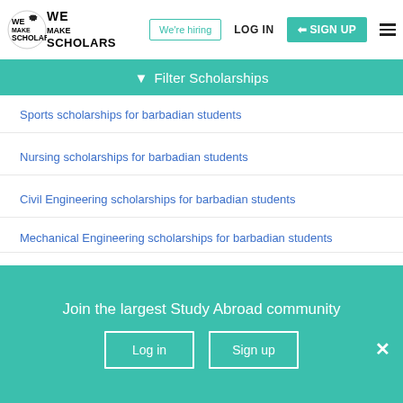We Make Scholars | We're hiring | LOG IN | SIGN UP
Filter Scholarships
Sports scholarships for barbadian students
Nursing scholarships for barbadian students
Civil Engineering scholarships for barbadian students
Mechanical Engineering scholarships for barbadian students
Film scholarships for barbadian students
Join the largest Study Abroad community
Log in | Sign up